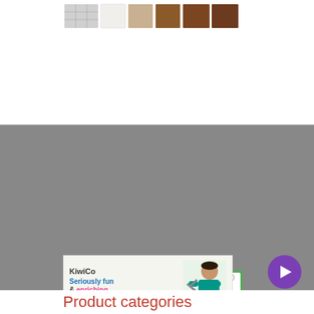[Figure (photo): Product thumbnail images showing clothing items in various colors including white, tan/beige, and brown shades]
[Figure (logo): GoDaddy Verified & Secured badge with green shield icon and text 'VERIFY SECURITY']
Copyright GISetc, a division of Critical Think, Inc 2021
[Figure (photo): KiwiCo advertisement showing 'Seriously fun & enriching projects' with image of a kid holding craft tools]
[Figure (other): Purple circular play button]
Product categories